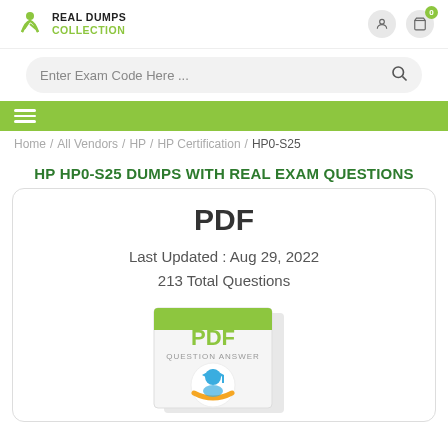[Figure (logo): Real Dumps Collection logo with stylized person icon and green/dark text]
Enter Exam Code Here ...
[Figure (infographic): Green navigation bar with hamburger menu icon]
Home / All Vendors / HP / HP Certification / HP0-S25
HP HP0-S25 DUMPS WITH REAL EXAM QUESTIONS
PDF
Last Updated : Aug 29, 2022
213 Total Questions
[Figure (photo): PDF product box with Real Dumps Collection branding, showing PDF QUESTION ANSWER label and logo]